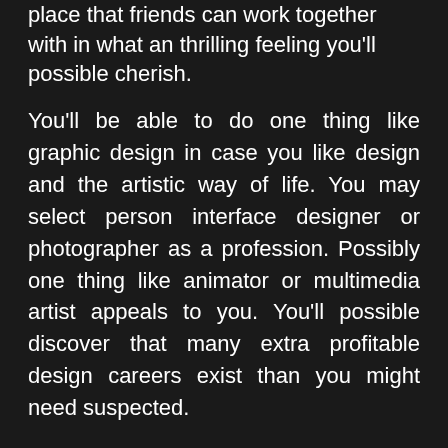place that friends can work together with in what an thrilling feeling you'll possible cherish.
You'll be able to do one thing like graphic design in case you like design and the artistic way of life. You may select person interface designer or photographer as a profession. Possibly one thing like animator or multimedia artist appeals to you. You'll possible discover that many extra profitable design careers exist than you might need suspected.
We use cookies on our website to give you the most relevant experience by remembering your preferences and repeat visits. By clicking "Accept All", you consent to the use of ALL the cookies. However, you may visit "Cookie Settings" to provide a controlled consent.